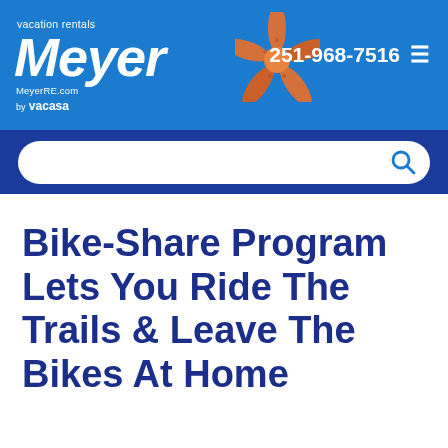Meyer vacation rentals | MeyerRE.com | by vacasa | 251-968-7516
[Figure (logo): Meyer Vacation Rentals by vacasa logo with starfish, on blue background header with phone number 251-968-7516 and hamburger menu icon]
[Figure (other): Search bar with magnifying glass icon on dark blue background]
Bike-Share Program Lets You Ride The Trails & Leave The Bikes At Home